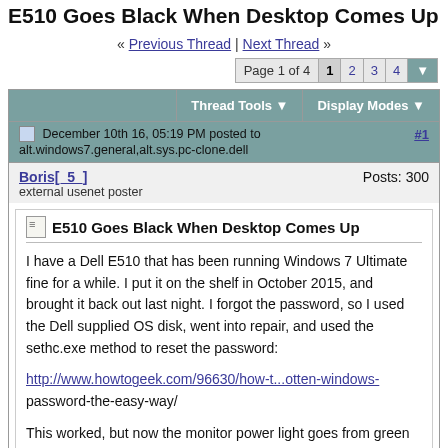E510 Goes Black When Desktop Comes Up
« Previous Thread | Next Thread »
Page 1 of 4  1  2  3  4
Thread Tools  Display Modes
December 10th 16, 05:19 PM posted to alt.windows7.general,alt.sys.pc-clone.dell  #1
Boris[_5_]  Posts: 300
external usenet poster
E510 Goes Black When Desktop Comes Up
I have a Dell E510 that has been running Windows 7 Ultimate fine for a while. I put it on the shelf in October 2015, and brought it back out last night. I forgot the password, so I used the Dell supplied OS disk, went into repair, and used the sethc.exe method to reset the password:

http://www.howtogeek.com/96630/how-t...otten-windows-password-the-easy-way/

This worked, but now the monitor power light goes from green to orange (power saving mode), the keyboard lights go out, and the mouse light